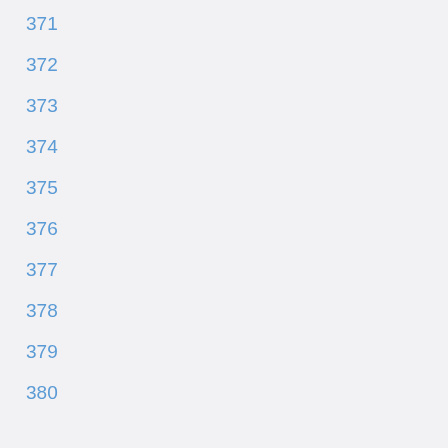371
372
373
374
375
376
377
378
379
380